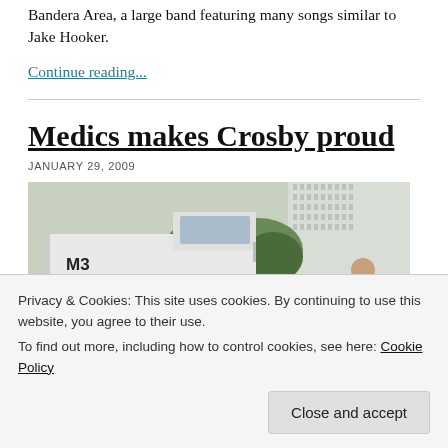Bandera Area, a large band featuring many songs similar to Jake Hooker.
Continue reading...
Medics makes Crosby proud
JANUARY 29, 2009
[Figure (photo): Ambulance labeled M3 parked on a street with trees and tall buildings in the background, a person partially visible]
Privacy & Cookies: This site uses cookies. By continuing to use this website, you agree to their use.
To find out more, including how to control cookies, see here: Cookie Policy
Close and accept